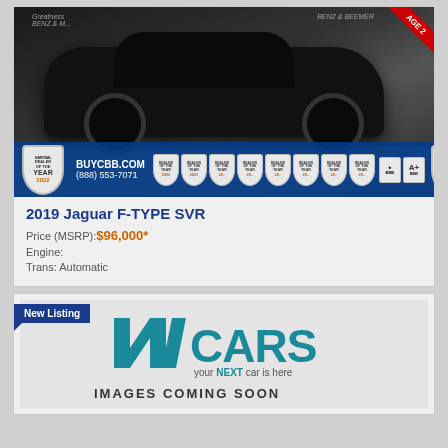[Figure (photo): Black 2019 Jaguar F-TYPE SVR sports car photographed in a dealership showroom with checkered floor. Dealership branding 'BENZ & BEEMER' visible at top. Red corner banner reads 'AGE 2'. Blue bottom bar features 'BUYCBB.COM (888) 553-7071' and multiple dealer-of-the-year badge shields.]
2019 Jaguar F-TYPE SVR
Price (MSRP):$96,000*
Engine:
Trans: Automatic
[Figure (logo): NJ CARS logo with tagline 'your NEXT car is here' on a light grey background, with 'New Listing' badge in blue at top left. Below the logo text reads 'IMAGES COMING SOON'.]